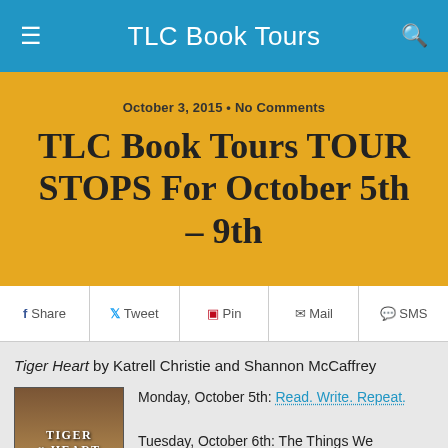TLC Book Tours
October 3, 2015 • No Comments
TLC Book Tours TOUR STOPS For October 5th – 9th
Share  Tweet  Pin  Mail  SMS
Tiger Heart by Katrell Christie and Shannon McCaffrey
[Figure (illustration): Book cover for Tiger Heart]
Monday, October 5th: Read. Write. Repeat.

Tuesday, October 6th: The Things We